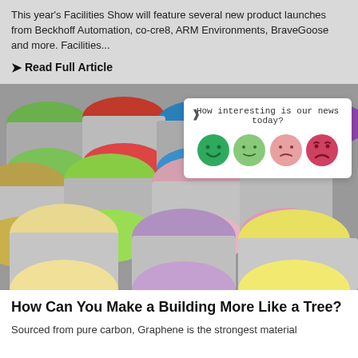This year's Facilities Show will feature several new product launches from Beckhoff Automation, co-cre8, ARM Environments, BraveGoose and more.  Facilities...
❯ Read Full Article
[Figure (photo): Multiple open paint cans viewed from above, showing various colors including green, yellow, purple, beige, and pink arranged closely together.]
[Figure (infographic): Rating widget overlay asking 'How interesting is our news today?' with four emoji faces ranging from very happy (dark green) to neutral (light green) to slightly sad (light pink/salmon) to very sad (dark pink/red).]
How Can You Make a Building More Like a Tree?
Sourced from pure carbon, Graphene is the strongest material